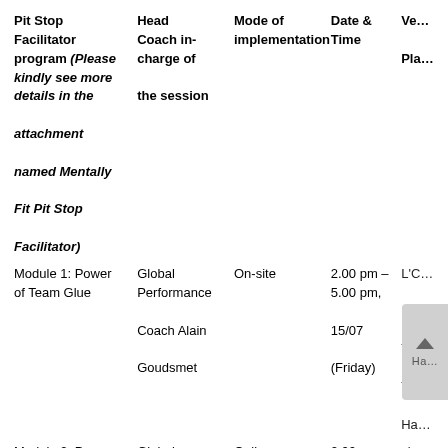| Pit Stop Facilitator program (Please kindly see more details in the attachment named Mentally Fit Pit Stop Facilitator) | Head Coach in-charge of the session | Mode of implementation | Date & Time | Ve… Pla… |
| --- | --- | --- | --- | --- |
| Module 1: Power of Team Glue | Global Performance Coach Alain Goudsmet | On-site | 2.00 pm – 5.00 pm, 15/07 (Friday) | L'C… Ho… Tra… Tie… Ha… |
| Module 2: Power of Team Stretch | Global Perf… | Online | 2.00 pm – 5.00… | via… ZO… |